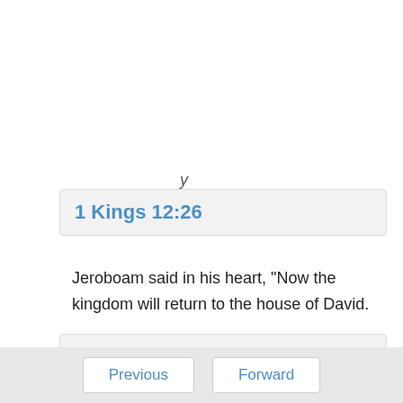1 Kings 12:26
Jeroboam said in his heart, "Now the kingdom will return to the house of David.
1 Kings 12:27
If this people goes up to offer sacrifices in the house of the LORD at Jerusalem, then the heart of this people will turn again to their lord, even to Rehoboam king of Judah; and they will kill me.
Previous   Forward